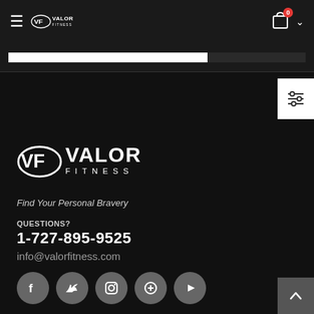Valor Fitness — Navigation header with hamburger menu, logo, cart icon (0 items), and chevron
[Figure (other): Progress bar, approximately 67% filled in white on dark background]
[Figure (other): Filter/sort icon button on white background in top-right corner]
[Figure (logo): Valor Fitness large white logo with VF emblem]
Find Your Personal Bravery
QUESTIONS?
1-727-895-9525
info@valorfitness.com
[Figure (other): Social media icons row: Facebook, Twitter, Instagram, Pinterest, YouTube — all in gray circles]
[Figure (other): Back to top button (up arrow) in gray square at bottom right]